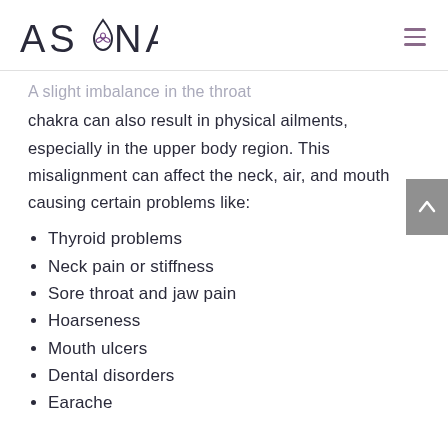ASANA
A slight imbalance in the throat chakra can also result in physical ailments, especially in the upper body region. This misalignment can affect the neck, air, and mouth causing certain problems like:
Thyroid problems
Neck pain or stiffness
Sore throat and jaw pain
Hoarseness
Mouth ulcers
Dental disorders
Earache